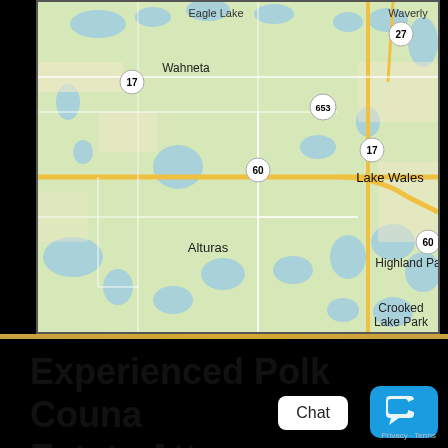[Figure (map): Google Maps screenshot showing Polk County, Florida area with locations including Eagle Lake, Wahneta, Waverly, Lake Wales, Alturas, Highland Park, and Crooked Lake Park. Route numbers 17, 27, 60, 653 visible.]
Experienced Polk County Real Estate Attorneys